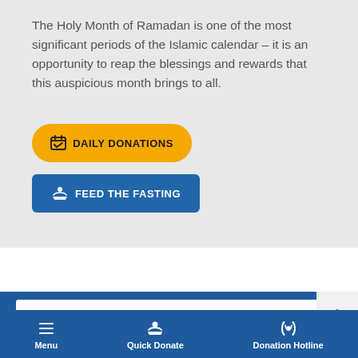The Holy Month of Ramadan is one of the most significant periods of the Islamic calendar – it is an opportunity to reap the blessings and rewards that this auspicious month brings to all.
DAILY DONATIONS
FEED THE FASTING
Menu  Quick Donate  Donation Hotline